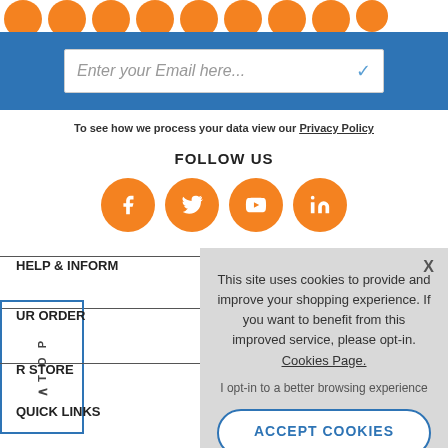[Figure (illustration): Row of orange circles at the top of the page]
[Figure (screenshot): Blue bar with email input field containing placeholder text 'Enter your Email here...' and a blue checkmark]
To see how we process your data view our Privacy Policy
FOLLOW US
[Figure (illustration): Four orange social media icon circles: Facebook, Twitter, YouTube, LinkedIn]
HELP & INFORM
UR ORDER
R STORE
QUICK LINKS
[Figure (other): Cookie consent overlay panel with close X button, text about cookies, opt-in link and ACCEPT COOKIES button]